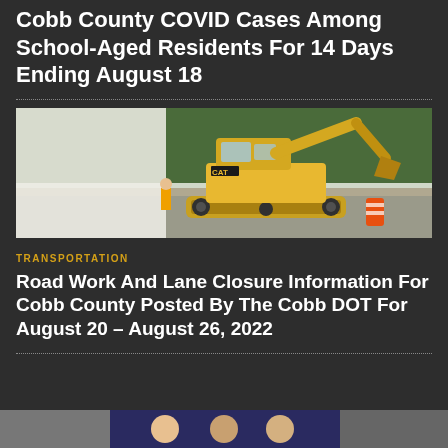Cobb County COVID Cases Among School-Aged Residents For 14 Days Ending August 18
[Figure (photo): A yellow excavator/construction machine operating at a road work site with orange construction barrels and trees in the background.]
TRANSPORTATION
Road Work And Lane Closure Information For Cobb County Posted By The Cobb DOT For August 20 – August 26, 2022
[Figure (photo): Partial view of people, bottom strip of page, faces partially visible.]